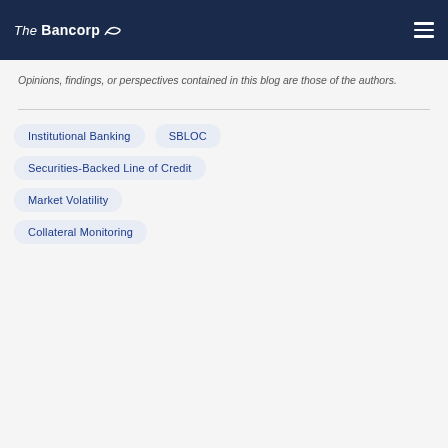The Bancorp
Opinions, findings, or perspectives contained in this blog are those of the authors.
Institutional Banking
SBLOC
Securities-Backed Line of Credit
Market Volatility
Collateral Monitoring